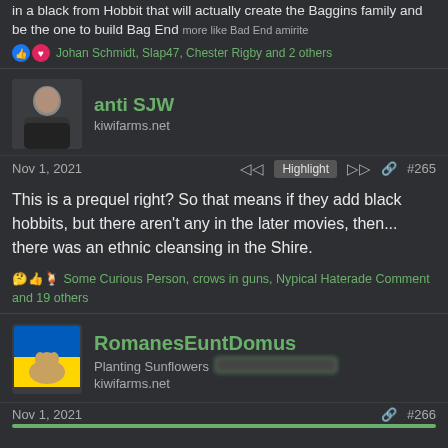in a black from Hobbit that will actually create the Baggins family and be the one to build Bag End more like Bad End amirite
Johan Schmidt, Slap47, Chester Rigby and 2 others
anti SJW
kiwifarms.net
Nov 1, 2021  Highlight  #265
This is a prequel right? So that means if they add black hobbits, but there aren't any in the later movies, then... there was an ethnic cleansing in the Shire.
Some Curious Person, crows in guns, Nypical Haterade Comment and 19 others
RomanesEuntDomus
Planting Sunflowers
kiwifarms.net
Nov 1, 2021  #266